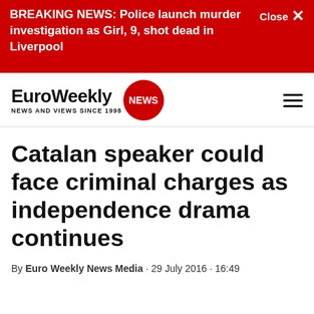BREAKING NEWS: Police launch murder investigation as Girl, 9, shot dead in Liverpool
[Figure (logo): EuroWeekly NEWS logo with red circle badge and tagline NEWS AND VIEWS SINCE 1998]
Catalan speaker could face criminal charges as independence drama continues
By Euro Weekly News Media · 29 July 2016 · 16:49